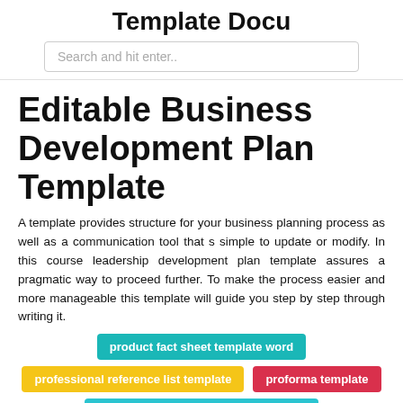Template Docu
Search and hit enter..
Editable Business Development Plan Template
A template provides structure for your business planning process as well as a communication tool that s simple to update or modify. In this course leadership development plan template assures a pragmatic way to proceed further. To make the process easier and more manageable this template will guide you step by step through writing it.
product fact sheet template word
professional reference list template
proforma template
pro forma income statement template